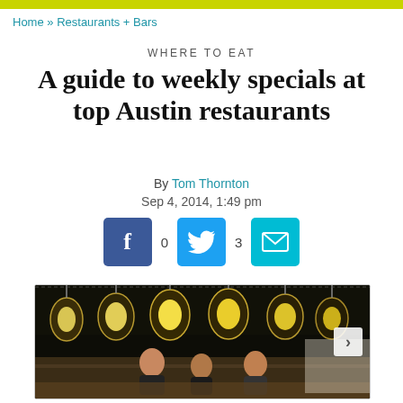Home » Restaurants + Bars
WHERE TO EAT
A guide to weekly specials at top Austin restaurants
By Tom Thornton
Sep 4, 2014, 1:49 pm
[Figure (other): Social sharing buttons: Facebook (0 shares), Twitter (3 shares), Email]
[Figure (photo): Interior of an Austin restaurant showing multiple ornate lantern-style chandeliers hanging from the ceiling, with diners seated at a rustic wooden table below. A forward arrow navigation button is visible on the right side.]